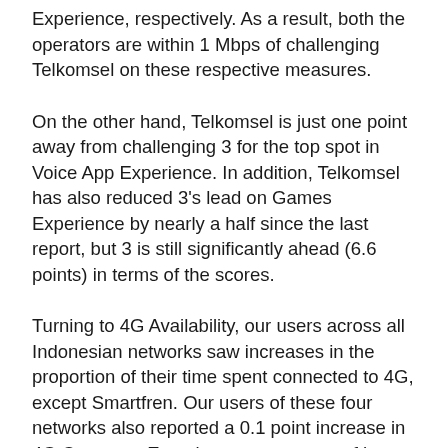Experience, respectively. As a result, both the operators are within 1 Mbps of challenging Telkomsel on these respective measures.
On the other hand, Telkomsel is just one point away from challenging 3 for the top spot in Voice App Experience. In addition, Telkomsel has also reduced 3's lead on Games Experience by nearly a half since the last report, but 3 is still significantly ahead (6.6 points) in terms of the scores.
Turning to 4G Availability, our users across all Indonesian networks saw increases in the proportion of their time spent connected to 4G, except Smartfren. Our users of these four networks also reported a 0.1 point increase in 4G Coverage Experience, a measure of how mobile subscribers experience 4G coverage on an operator's network, with Telkomsel leading